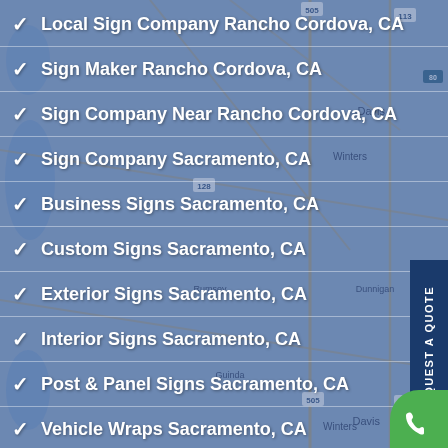[Figure (map): Road map background showing Sacramento, CA area including Davis, Woodland, Yolo, Dixon, Winters, Knights Landing, and surrounding cities with roads and highways including 505, 113, 16, 128, 80.]
Local Sign Company Rancho Cordova, CA
Sign Maker Rancho Cordova, CA
Sign Company Near Rancho Cordova, CA
Sign Company Sacramento, CA
Business Signs Sacramento, CA
Custom Signs Sacramento, CA
Exterior Signs Sacramento, CA
Interior Signs Sacramento, CA
Post & Panel Signs Sacramento, CA
Vehicle Wraps Sacramento, CA
REQUEST A QUOTE